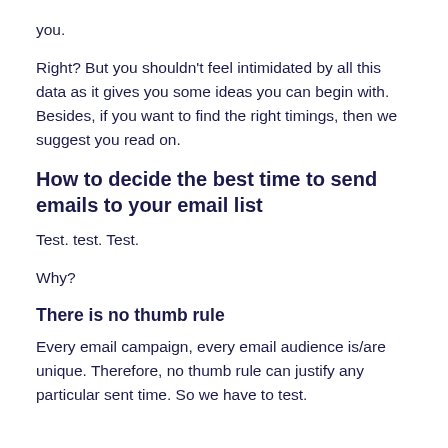you.
Right? But you shouldn’t feel intimidated by all this data as it gives you some ideas you can begin with. Besides, if you want to find the right timings, then we suggest you read on.
How to decide the best time to send emails to your email list
Test. test. Test.
Why?
There is no thumb rule
Every email campaign, every email audience is/are unique. Therefore, no thumb rule can justify any particular sent time. So we have to test.